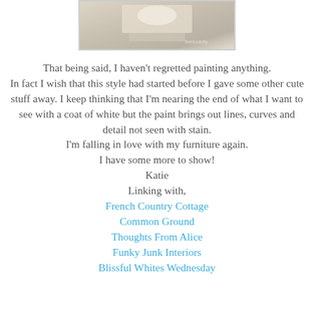[Figure (photo): Partial photo at top showing decorative items on a surface with beige/cream tones]
That being said, I haven't regretted painting anything.
In fact I wish that this style had started before I gave some other cute stuff away. I keep thinking that I'm nearing the end of what I want to see with a coat of white but the paint brings out lines, curves and detail not seen with stain.
I'm falling in love with my furniture again.
I have some more to show!
Katie
Linking with,
French Country Cottage
Common Ground
Thoughts From Alice
Funky Junk Interiors
Blissful Whites Wednesday